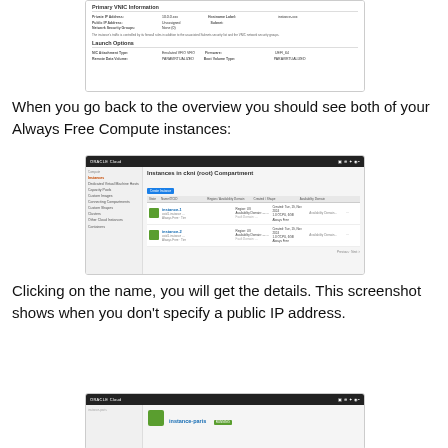[Figure (screenshot): Oracle Cloud screenshot showing Primary VNIC Information and Launch Options panels with fields for private/public IP addresses, network security groups, NIC attachment type, firmware, remote data volume, and boot volume type.]
When you go back to the overview you should see both of your Always Free Compute instances:
[Figure (screenshot): Oracle Cloud screenshot showing Instances in ckni (root) Compartment listing page with two compute instances listed with green icons, names, region info, and status columns.]
Clicking on the name, you will get the details. This screenshot shows when you don't specify a public IP address.
[Figure (screenshot): Oracle Cloud screenshot showing instance details page for 'instance-paris' with a running status badge and green square icon.]